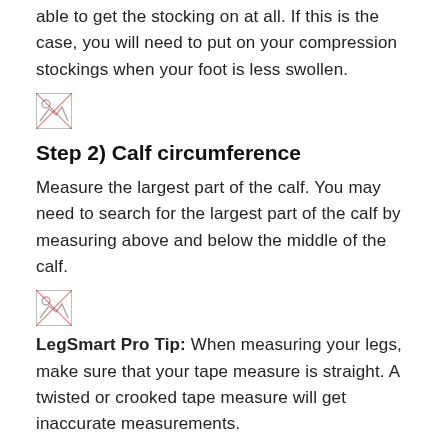able to get the stocking on at all. If this is the case, you will need to put on your compression stockings when your foot is less swollen.
[Figure (photo): Small broken image placeholder icon]
Step 2) Calf circumference
Measure the largest part of the calf. You may need to search for the largest part of the calf by measuring above and below the middle of the calf.
[Figure (photo): Small broken image placeholder icon]
LegSmart Pro Tip: When measuring your legs, make sure that your tape measure is straight. A twisted or crooked tape measure will get inaccurate measurements.
Step 3) Knee length